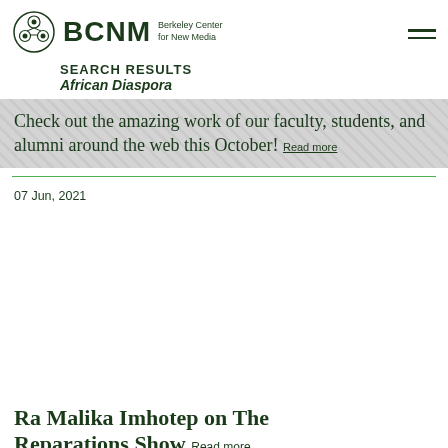BCNM Berkeley Center for New Media
SEARCH RESULTS
African Diaspora
Check out the amazing work of our faculty, students, and alumni around the web this October! Read more
07 Jun, 2021
Ra Malika Imhotep on The Reparations Show Read more